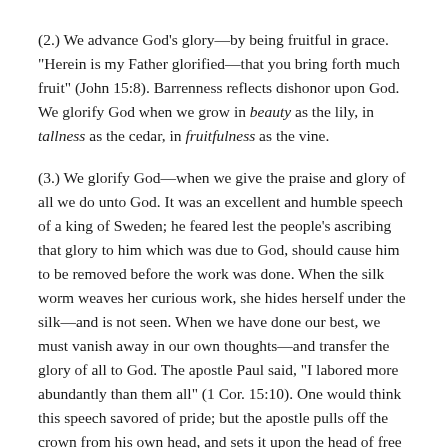(2.) We advance God's glory—by being fruitful in grace. "Herein is my Father glorified—that you bring forth much fruit" (John 15:8). Barrenness reflects dishonor upon God. We glorify God when we grow in beauty as the lily, in tallness as the cedar, in fruitfulness as the vine.
(3.) We glorify God—when we give the praise and glory of all we do unto God. It was an excellent and humble speech of a king of Sweden; he feared lest the people's ascribing that glory to him which was due to God, should cause him to be removed before the work was done. When the silk worm weaves her curious work, she hides herself under the silk—and is not seen. When we have done our best, we must vanish away in our own thoughts—and transfer the glory of all to God. The apostle Paul said, "I labored more abundantly than them all" (1 Cor. 15:10). One would think this speech savored of pride; but the apostle pulls off the crown from his own head, and sets it upon the head of free grace, "Yet not I—but the grace of God which was with me!" Constantine used to write the name of Christ over the door, so should we over our duties. "Therefore, whether you eat or drink, or whatever you do, do everything for God's glory." 1 Corinthians 10:31